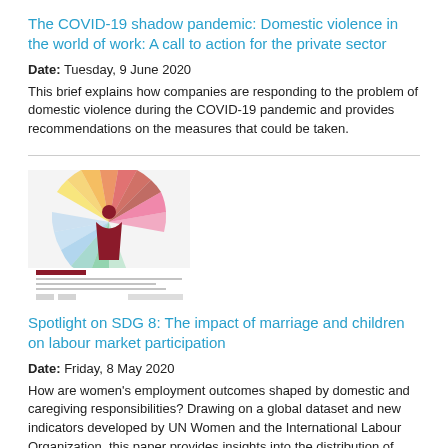The COVID-19 shadow pandemic: Domestic violence in the world of work: A call to action for the private sector
Date: Tuesday, 9 June 2020
This brief explains how companies are responding to the problem of domestic violence during the COVID-19 pandemic and provides recommendations on the measures that could be taken.
[Figure (illustration): Book cover thumbnail: The impact of marriage and children on labour market participation. Features a colorful circular/fan design with a woman silhouette.]
Spotlight on SDG 8: The impact of marriage and children on labour market participation
Date: Friday, 8 May 2020
How are women's employment outcomes shaped by domestic and caregiving responsibilities? Drawing on a global dataset and new indicators developed by UN Women and the International Labour Organization, this paper provides insights into the distribution of